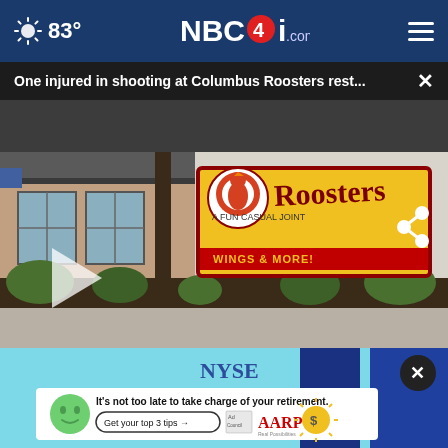83° NBC4i.com
One injured in shooting at Columbus Roosters rest... ×
[Figure (photo): Exterior of Roosters Wings & More restaurant building with yellow Roosters sign, covered entry, and landscaping. Video thumbnail with play button overlay.]
[Figure (photo): AARP advertisement banner: 'It's not too late to take charge of your retirement. Get your top 3 tips →' with Ad Council and AARP Real Possibilities logos. NYSE text visible in background.]